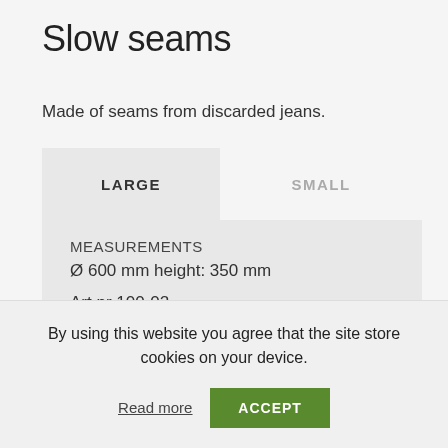Slow seams
Made of seams from discarded jeans.
LARGE   SMALL
MEASUREMENTS
Ø 600 mm height: 350 mm

Art nr 100-02
By using this website you agree that the site store cookies on your device.
Read more
ACCEPT